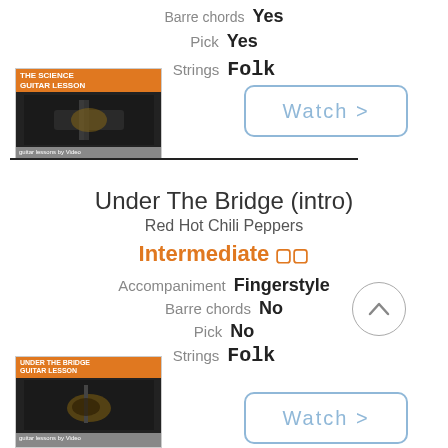Barre chords Yes
Pick Yes
Strings Folk
[Figure (screenshot): Thumbnail image for The Science Guitar Lesson video]
Watch >
Under The Bridge (intro)
Red Hot Chili Peppers
Intermediate 🟧🟧
Accompaniment Fingerstyle
Barre chords No
Pick No
Strings Folk
[Figure (screenshot): Thumbnail image for Under The Bridge Guitar Lesson video]
Watch >